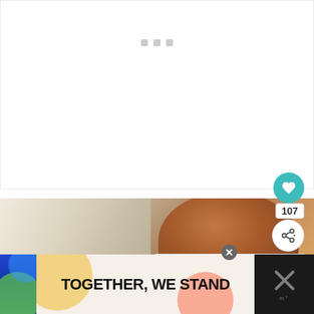[Figure (screenshot): White loading area with three small gray square loading dots centered near the top]
[Figure (photo): Food photo showing a wooden bowl with roasted vegetables/food and a linen cloth, warm tones]
107
[Figure (infographic): Share button (circular white button with share icon)]
[Figure (infographic): WHAT'S NEXT arrow label with 'The Best Healthy...' text and a circular thumbnail image]
[Figure (infographic): Advertisement banner: TOGETHER, WE STAND text on light background with colorful shapes, close button, and X icon on right]
[Figure (infographic): Teal circular heart/favorite button]